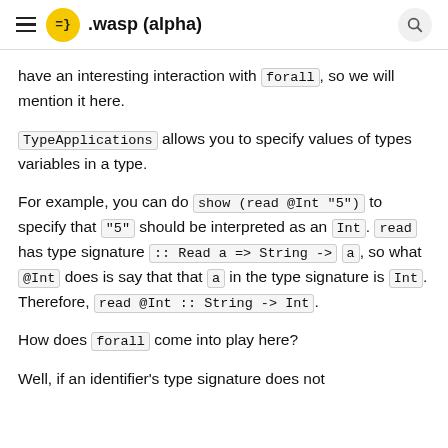≡ =} .wasp (alpha)
have an interesting interaction with forall, so we will mention it here.
TypeApplications allows you to specify values of types variables in a type.
For example, you can do show (read @Int "5") to specify that "5" should be interpreted as an Int. read has type signature :: Read a => String -> a, so what @Int does is say that that a in the type signature is Int. Therefore, read @Int :: String -> Int.
How does forall come into play here?
Well, if an identifier's type signature does not